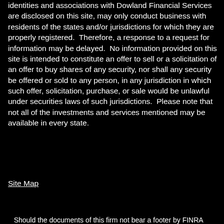Registered Representatives or Client-Site Countries whose identities and associations with Dowland Financial Services are disclosed on this site, may only conduct business with residents of the states and/or jurisdictions for which they are properly registered.  Therefore, a response to a request for information may be delayed.  No information provided on this site is intended to constitute an offer to sell or a solicitation of an offer to buy shares of any security, nor shall any security be offered or sold to any person, in any jurisdiction in which such offer, solicitation, purchase, or sale would be unlawful under securities laws of such jurisdictions.  Please note that not all of the investments and services mentioned may be available in every state.
Site Map
Should the documents of this firm not bear a footer by FINRA